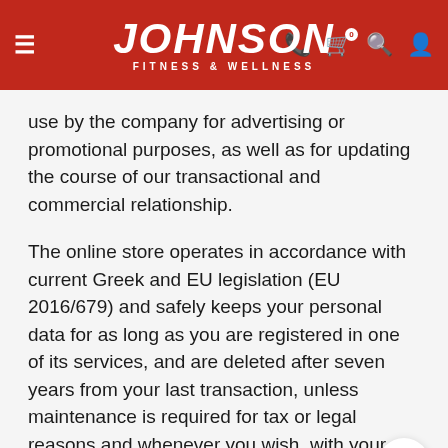JOHNSON FITNESS & WELLNESS
use by the company for advertising or promotional purposes, as well as for updating the course of our transactional and commercial relationship.
The online store operates in accordance with current Greek and EU legislation (EU 2016/679) and safely keeps your personal data for as long as you are registered in one of its services, and are deleted after seven years from your last transaction, unless maintenance is required for tax or legal reasons and whenever you wish, with your written declaration. The personal data you declare in the online store are used exclusively by it, for the purposes of the commercial relationship, for the information of the course of the relationship, for the information of new products, advertisements and promotions, and it is allowed to be given to companies that cooperate with it